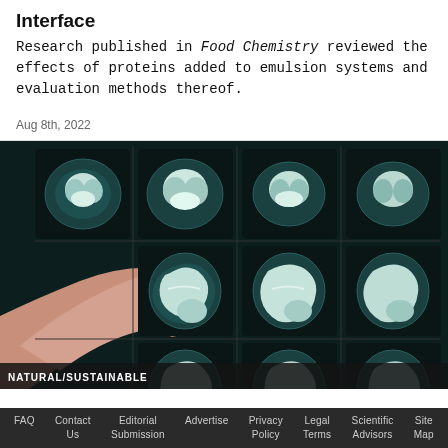Interface
Research published in Food Chemistry reviewed the effects of proteins added to emulsion systems and evaluation methods thereof.
Aug 8th, 2022
[Figure (photo): A hand holding up MRI brain scan images showing multiple cross-sections of a human brain in teal/blue tones on a light box.]
NATURAL/SUSTAINABLE
FAQ  Contact Us  Editorial Submission  Advertise  Privacy Policy  Legal Terms  Scientific Advisors  Site Map